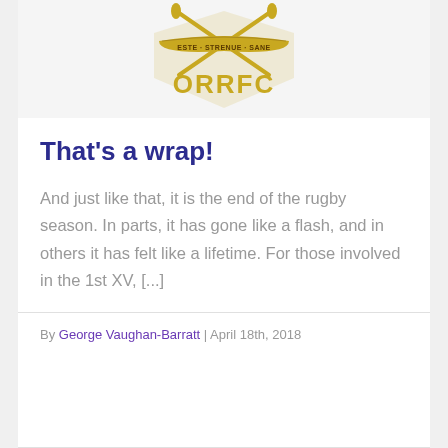[Figure (logo): ORRFC rugby club crest/logo with golden shield, crossed items, banner reading 'ESTE STRENUE SANE' and text 'ORRFC' in gold below]
That's a wrap!
And just like that, it is the end of the rugby season. In parts, it has gone like a flash, and in others it has felt like a lifetime. For those involved in the 1st XV, [...]
By George Vaughan-Barratt | April 18th, 2018